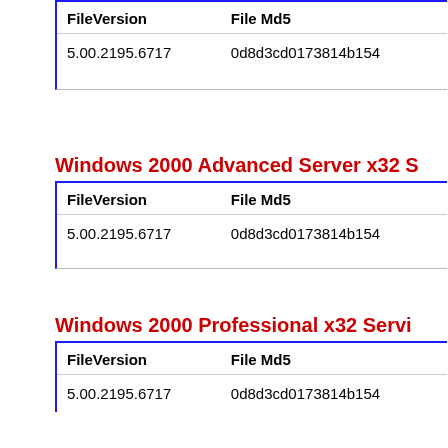| FileVersion | File Md5 |
| --- | --- |
| 5.00.2195.6717 | 0d8d3cd0173814b15... |
Windows 2000 Advanced Server x32 S...
| FileVersion | File Md5 |
| --- | --- |
| 5.00.2195.6717 | 0d8d3cd0173814b15... |
Windows 2000 Professional x32 Servi...
| FileVersion | File Md5 |
| --- | --- |
| 5.00.2195.6717 | 0d8d3cd0173814b15... |